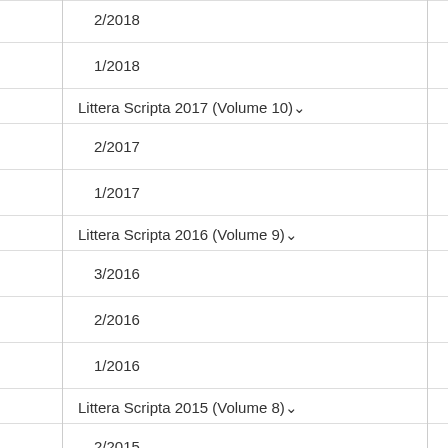2/2018
1/2018
Littera Scripta 2017 (Volume 10)
2/2017
1/2017
Littera Scripta 2016 (Volume 9)
3/2016
2/2016
1/2016
Littera Scripta 2015 (Volume 8)
2/2015